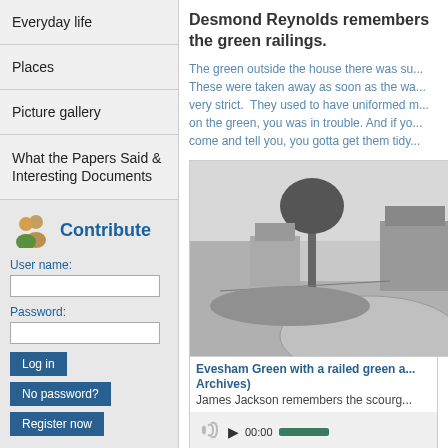Everyday life
Places
Picture gallery
What the Papers Said & Interesting Documents
Contribute
User name:
Password:
Desmond Reynolds remembers the green railings.
The green outside the house there was su... These were taken away as soon as the wa... very strict. They used to have uniformed m... on the green, you was in trouble. And if yo... come and tell you, you gotta get them tidy...
[Figure (photo): Black and white photograph of Evesham Green with a railed green area and houses in the background]
Evesham Green with a railed green a... Archives)
James Jackson remembers the scourg...
00:00